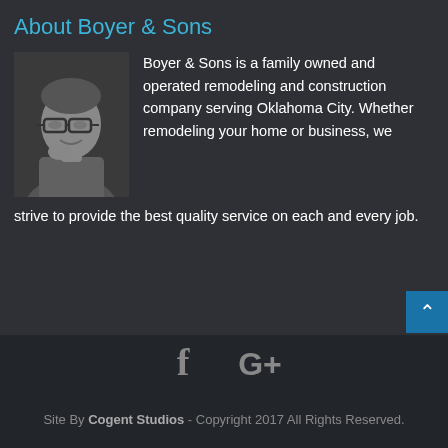About Boyer & Sons
[Figure (photo): Black and white photo of a middle-aged man wearing glasses, smiling, with his hand near his chin.]
Boyer & Sons is a family owned and operated remodeling and construction company serving Oklahoma City. Whether remodeling your home or business, we strive to provide the best quality service on each and every job.
[Figure (other): Facebook icon (f) and Google Plus icon (G+) in gray]
Site By Cogent Studios - Copyright 2017 All Rights Reserved.